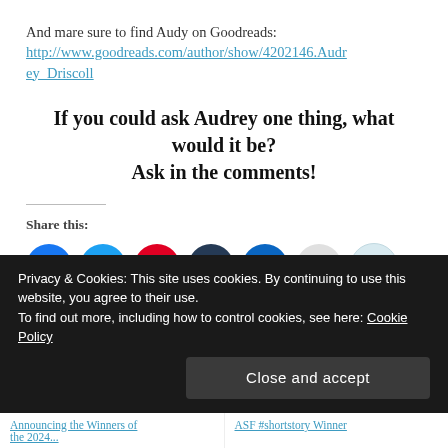And mare sure to find Audy on Goodreads: http://www.goodreads.com/author/show/4202146.Audrey_Driscoll
If you could ask Audrey one thing, what would it be? Ask in the comments!
Share this:
[Figure (infographic): Social share buttons: Facebook, Twitter, Pinterest (with badge 1), Tumblr, LinkedIn, Email, Reddit]
Loading...
Privacy & Cookies: This site uses cookies. By continuing to use this website, you agree to their use. To find out more, including how to control cookies, see here: Cookie Policy
Announcing the Winners of... | ASF #shortstory Winner